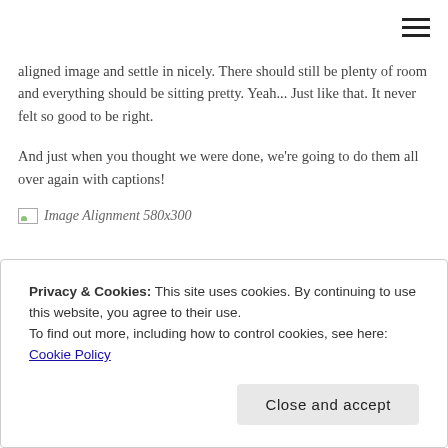[Figure (other): Hamburger menu icon (three horizontal lines) in top-right corner]
aligned image and settle in nicely. There should still be plenty of room and everything should be sitting pretty. Yeah... Just like that. It never felt so good to be right.
And just when you thought we were done, we're going to do them all over again with captions!
[Figure (photo): Image Alignment 580x300 (broken image placeholder with italic alt text)]
Privacy & Cookies: This site uses cookies. By continuing to use this website, you agree to their use.
To find out more, including how to control cookies, see here: Cookie Policy